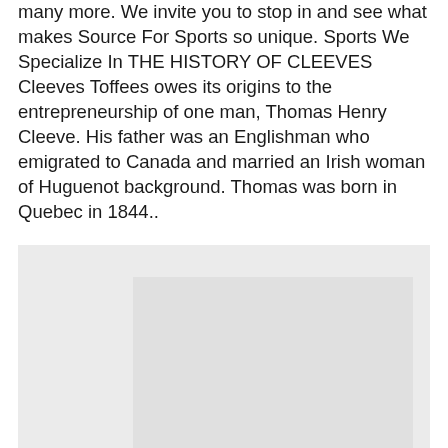many more. We invite you to stop in and see what makes Source For Sports so unique. Sports We Specialize In THE HISTORY OF CLEEVES Cleeves Toffees owes its origins to the entrepreneurship of one man, Thomas Henry Cleeve. His father was an Englishman who emigrated to Canada and married an Irish woman of Huguenot background. Thomas was born in Quebec in 1844..
[Figure (photo): A light gray rectangular image placeholder within a light gray background panel.]